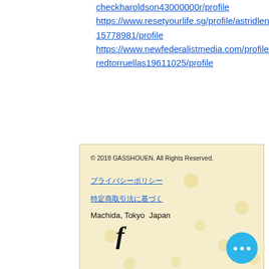checkharoldson43000000r/profile https://www.resetyourlife.sg/profile/astridlenk15778981/profile https://www.newfederalistmedia.com/profile/fredtorruellas19611025/profile
© 2018 GASSHOUEN. All Rights Reserved.
（Japanese link 1）
（Japanese link 2）
Machida, Tokyo  Japan
[Figure (other): Facebook icon (f) in black]
[Figure (other): Blue circular chat/more button with three white dots]